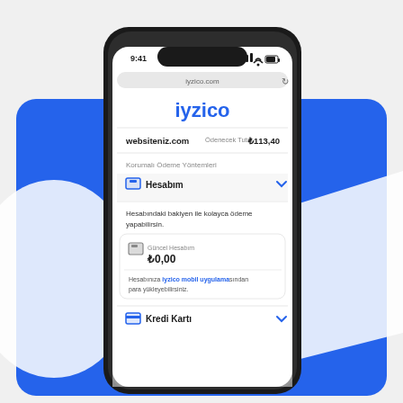[Figure (screenshot): A smartphone (iPhone-style with notch) displaying the iyzico payment page on iyzico.com. The screen shows: iyzico logo in blue, websiteniz.com with Ödenecek Tutar ₺113,40, Korumalı Ödeme Yöntemleri section, Hesabım option (expanded) with wallet icon and chevron, text 'Hesabındaki bakiyen ile kolayca ödeme yapabilirsin.', a card showing Güncel Hesabım ₺0,00, text 'Hesabınıza iyzico mobil uygulamasından para yükleyebilirsiniz.', and Kredi Kartı option at the bottom. The phone is on a blue background with white geometric shapes.]